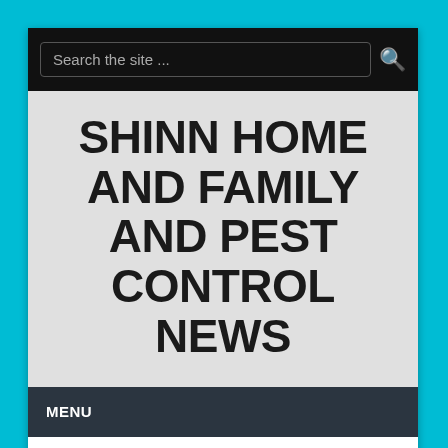Search the site ...
SHINN HOME AND FAMILY AND PEST CONTROL NEWS
MENU
It Can Be Buried Underground In Concrete, In Radiant Floor Heating Installations, But It Is Not Meant For External Piping Applications.
Jan 15, 2018